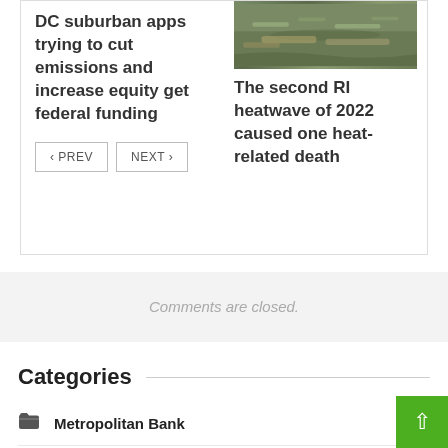[Figure (photo): Outdoor photo showing leaves/debris in what appears to be a gutter or outdoor surface]
DC suburban apps trying to cut emissions and increase equity get federal funding
The second RI heatwave of 2022 caused one heat-related death
< PREV   NEXT >
Comments are closed.
Categories
Metropolitan Bank
Metropolitan Center